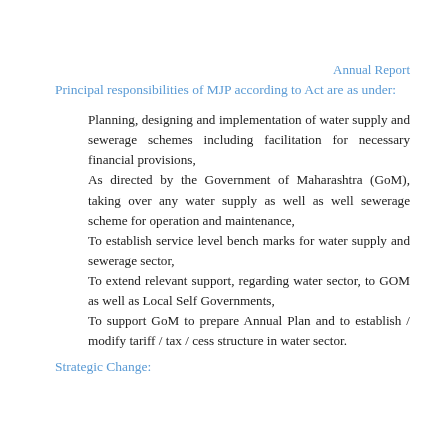Annual Report
Principal responsibilities of MJP according to Act are as under:
Planning, designing and implementation of water supply and sewerage schemes including facilitation for necessary financial provisions,
As directed by the Government of Maharashtra (GoM), taking over any water supply as well as well sewerage scheme for operation and maintenance,
To establish service level bench marks for water supply and sewerage sector,
To extend relevant support, regarding water sector, to GOM as well as Local Self Governments,
To support GoM to prepare Annual Plan and to establish / modify tariff / tax / cess structure in water sector.
Strategic Change: